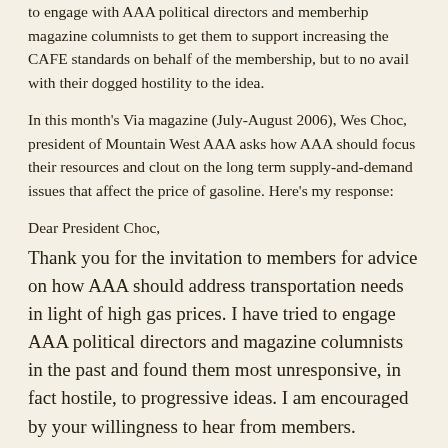to engage with AAA political directors and memberhip magazine columnists to get them to support increasing the CAFE standards on behalf of the membership, but to no avail with their dogged hostility to the idea.
In this month's Via magazine (July-August 2006), Wes Choc, president of Mountain West AAA asks how AAA should focus their resources and clout on the long term supply-and-demand issues that affect the price of gasoline. Here's my response:
Dear President Choc,
Thank you for the invitation to members for advice on how AAA should address transportation needs in light of high gas prices. I have tried to engage AAA political directors and magazine columnists in the past and found them most unresponsive, in fact hostile, to progressive ideas. I am encouraged by your willingness to hear from members.
In that spirit, I will suggest that you open your receptivity to